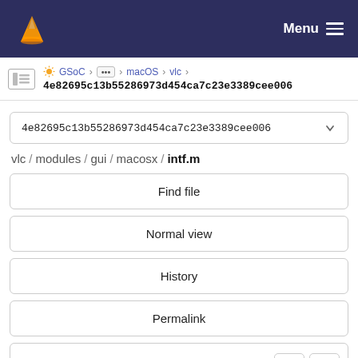Menu
GSoC > ... > macOS > vlc > 4e82695c13b55286973d454ca7c23e3389cee006
4e82695c13b55286973d454ca7c23e3389cee006
vlc / modules / gui / macosx / intf.m
Find file
Normal view
History
Permalink
intf.m  35.1 KB